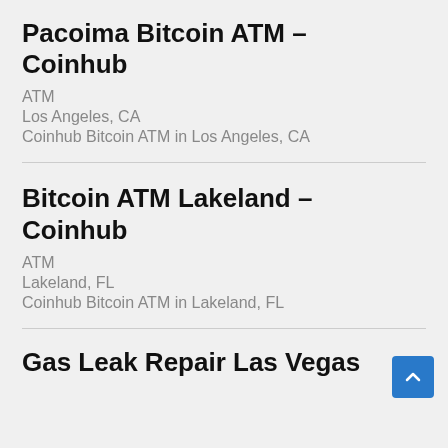Pacoima Bitcoin ATM – Coinhub
ATM
Los Angeles, CA
Coinhub Bitcoin ATM in Los Angeles, CA
Bitcoin ATM Lakeland – Coinhub
ATM
Lakeland, FL
Coinhub Bitcoin ATM in Lakeland, FL
Gas Leak Repair Las Vegas